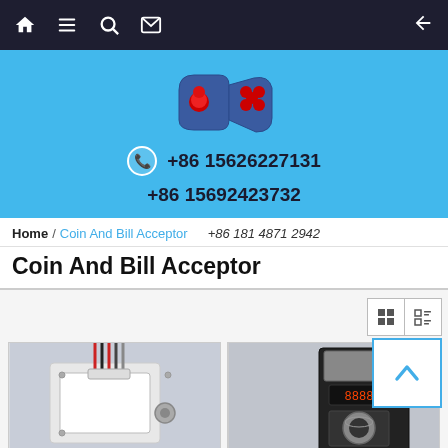Navigation bar with home, list, search, mail icons and back arrow
[Figure (screenshot): Light blue header banner with an arcade joystick/controller logo, phone number +86 15626227131 with phone icon, and +86 15692423732]
Home / Coin And Bill Acceptor   +86 181 4871 2942
Coin And Bill Acceptor
[Figure (photo): Two product images: left shows a white coin acceptor mounting bracket with wires, right shows a black bill/coin acceptor box with display]
[Figure (screenshot): Grid/list view toggle buttons and scroll-to-top button with up arrow]